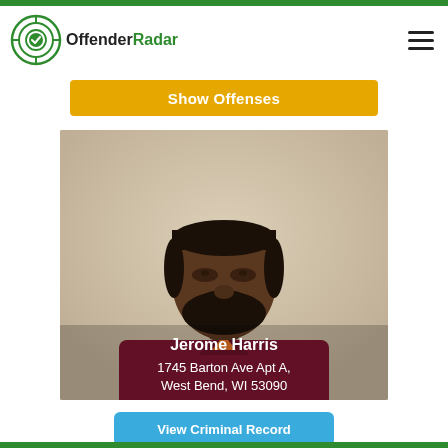OffenderRadar
Show Offenses
[Figure (photo): Mugshot photo of Jerome Harris, a man wearing a dark maroon/burgundy polo shirt with an orange undershirt, with short black hair and a beard, photographed against a light beige wall. Text overlay reads: Jerome Harris, 1745 Barton Ave Apt A, West Bend, WI 53090]
View Criminal Record